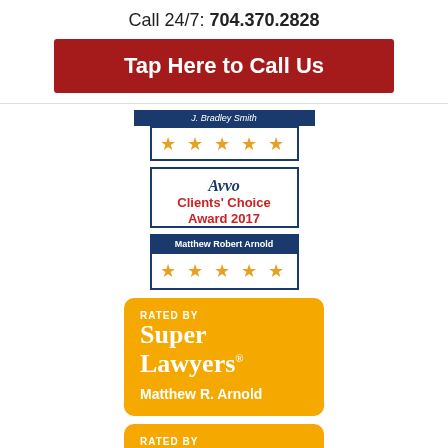Call 24/7: 704.370.2828
Tap Here to Call Us
[Figure (logo): Partial Avvo award badge top with name ribbon and five gold stars]
[Figure (logo): Avvo Clients' Choice Award 2017 badge for Matthew Robert Arnold with five gold stars]
[Figure (logo): Rated by Super Lawyers badge for Matthew R. Arnold on orange background]
[Figure (logo): Second Rated by Super Lawyers badge (partial) on orange background]